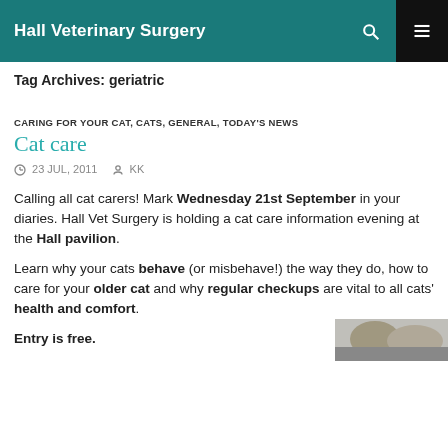Hall Veterinary Surgery
Tag Archives: geriatric
CARING FOR YOUR CAT, CATS, GENERAL, TODAY'S NEWS
Cat care
23 JUL, 2011   KK
Calling all cat carers! Mark Wednesday 21st September in your diaries. Hall Vet Surgery is holding a cat care information evening at the Hall pavilion.
Learn why your cats behave (or misbehave!) the way they do, how to care for your older cat and why regular checkups are vital to all cats' health and comfort.
Entry is free.
[Figure (photo): Photo of a cat, partially visible at bottom right of page]